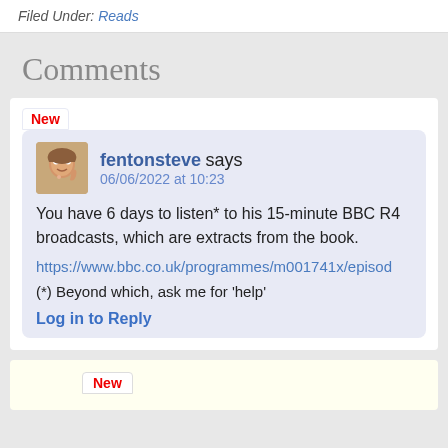Filed Under: Reads
Comments
New
fentonsteve says 06/06/2022 at 10:23
You have 6 days to listen* to his 15-minute BBC R4 broadcasts, which are extracts from the book.
https://www.bbc.co.uk/programmes/m001741x/episod
(*) Beyond which, ask me for 'help'
Log in to Reply
New